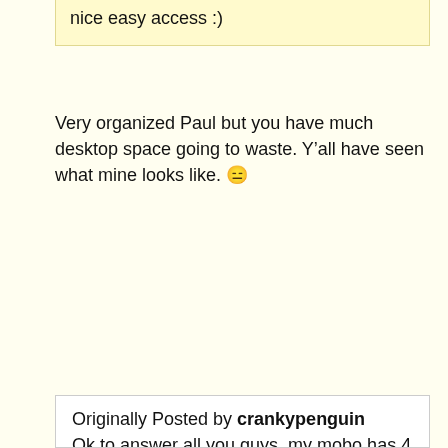nice easy access :)
Very organized Paul but you have much desktop space going to waste. Y’all have seen what mine looks like. 😑
Originally Posted by crankypenguin
Ok to answer all you guys, my mobo has 4 back USB3 ports, of which I need 2. The front ones I connect my Ipad3 to because the USB3 have 10watts of juice, and the New Ipad is a power hungry something something. Even if I didn't need the ports, it would drive me crazy to have a cable that is not hooked into its bay inside my computer...OCD I guess. As for the ram coolers, I don't need them, but they help out with some of the heat dissipation around that area since I am